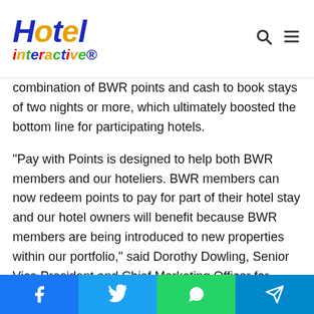Hotel interactive
combination of BWR points and cash to book stays of two nights or more, which ultimately boosted the bottom line for participating hotels.
“Pay with Points is designed to help both BWR members and our hoteliers. BWR members can now redeem points to pay for part of their hotel stay and our hotel owners will benefit because BWR members are being introduced to new properties within our portfolio,” said Dorothy Dowling, Senior Vice President and Chief Marketing Officer for BWHR. “We’re always looking to provide our rewards members with new promotions and benefits, and we're excited to introduce Pay with Points to Best Western-branded hotels across North
Facebook Twitter WhatsApp Telegram